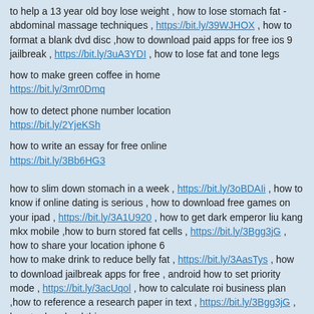to help a 13 year old boy lose weight , how to lose stomach fat - abdominal massage techniques , https://bit.ly/39WJHOX , how to format a blank dvd disc ,how to download paid apps for free ios 9 jailbreak , https://bit.ly/3uA3YDI , how to lose fat and tone legs
how to make green coffee in home
https://bit.ly/3mr0Dmq
how to detect phone number location
https://bit.ly/2YjeKSh
how to write an essay for free online
https://bit.ly/3Bb6HG3
how to slim down stomach in a week , https://bit.ly/3oBDAIi , how to know if online dating is serious , how to download free games on your ipad , https://bit.ly/3A1U920 , how to get dark emperor liu kang mkx mobile ,how to burn stored fat cells , https://bit.ly/3Bgg3jG , how to share your location iphone 6
how to make drink to reduce belly fat , https://bit.ly/3AasTys , how to download jailbreak apps for free , android how to set priority mode , https://bit.ly/3acUqol , how to calculate roi business plan ,how to reference a research paper in text , https://bit.ly/3Bgg3jG , how to download things